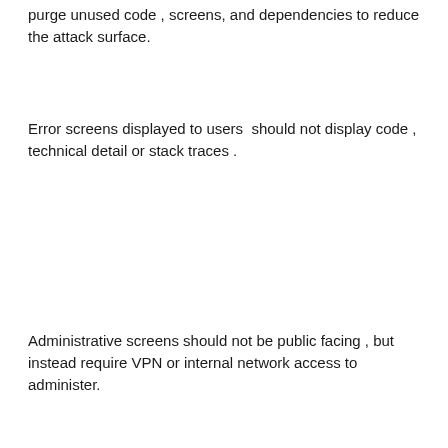purge unused code , screens, and dependencies to reduce the attack surface.
Error screens displayed to users  should not display code , technical detail or stack traces .
Administrative screens should not be public facing , but instead require VPN or internal network access to administer.